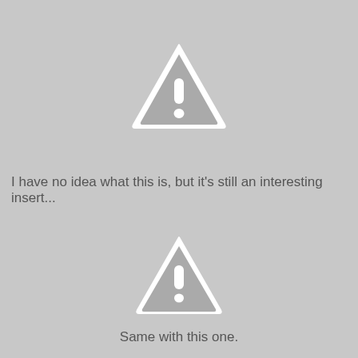[Figure (illustration): Warning/caution triangle icon with exclamation mark, gray with white border and white exclamation mark]
I have no idea what this is, but it's still an interesting insert...
[Figure (illustration): Warning/caution triangle icon with exclamation mark, gray with white border and white exclamation mark]
Same with this one.